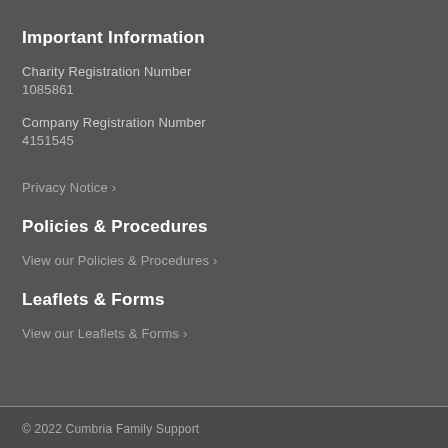Important Information
Charity Registration Number
1085861
Company Registration Number
4151545
Privacy Notice ›
Policies & Procedures
View our Policies & Procedures ›
Leaflets & Forms
View our Leaflets & Forms ›
© 2022 Cumbria Family Support